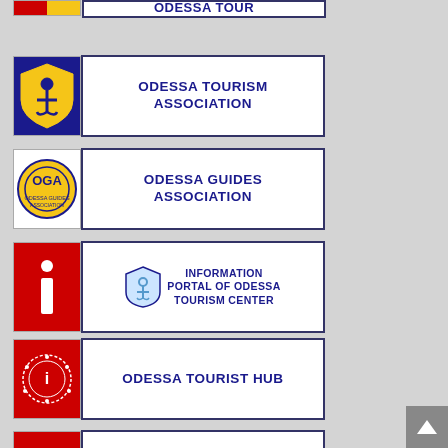[Figure (logo): Partial icon visible at top - red/yellow flag style logo]
ODESSA TOURISM ASSOCIATION
ODESSA GUIDES ASSOCIATION
INFORMATION PORTAL OF ODESSA TOURISM CENTER
ODESSA TOURIST HUB
HORNET-INFO